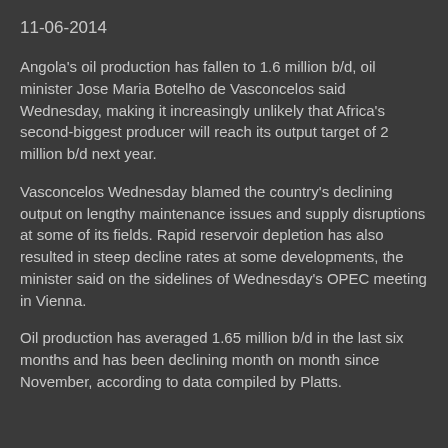11-06-2014
Angola's oil production has fallen to 1.6 million b/d, oil minister Jose Maria Botelho de Vasconcelos said Wednesday, making it increasingly unlikely that Africa's second-biggest producer will reach its output target of 2 million b/d next year.
Vasconcelos Wednesday blamed the country's declining output on lengthy maintenance issues and supply disruptions at some of its fields. Rapid reservoir depletion has also resulted in steep decline rates at some developments, the minister said on the sidelines of Wednesday's OPEC meeting in Vienna.
Oil production has averaged 1.65 million b/d in the last six months and has been declining month on month since November, according to data compiled by Platts.